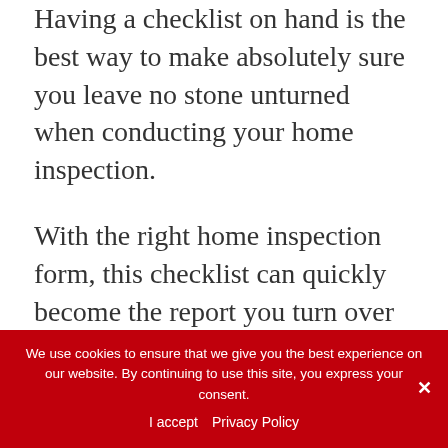Having a checklist on hand is the best way to make absolutely sure you leave no stone unturned when conducting your home inspection.
With the right home inspection form, this checklist can quickly become the report you turn over to the client after completing the inspection. Gone are the days of laboriously consulting your checklist, conducting your inspection, then transferring the information
We use cookies to ensure that we give you the best experience on our website. By continuing to use this site, you express your consent.
I accept   Privacy Policy